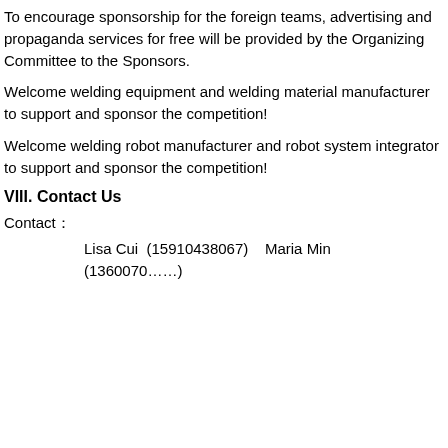To encourage sponsorship for the foreign teams, advertising and propaganda services for free will be provided by the Organizing Committee to the Sponsors.
Welcome welding equipment and welding material manufacturer to support and sponsor the competition!
Welcome welding robot manufacturer and robot system integrator to support and sponsor the competition!
VIII. Contact Us
Contact：
Lisa Cui  (15910438067)    Maria Min (1360070000)